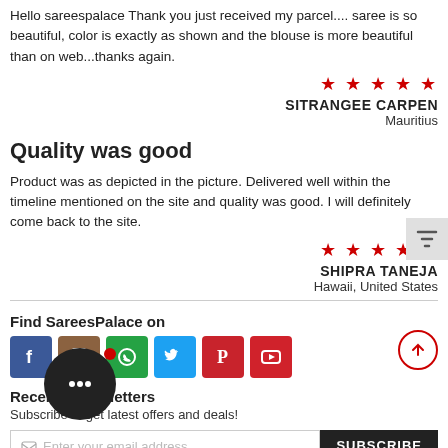Hello sareespalace Thank you just received my parcel.... saree is so beautiful, color is exactly as shown and the blouse is more beautiful than on web...thanks again.
★★★★★
SITRANGEE CARPEN
Mauritius
Quality was good
Product was as depicted in the picture. Delivered well within the timeline mentioned on the site and quality was good. I will definitely come back to the site.
★★★★★
SHIPRA TANEJA
Hawaii, United States
Find SareesPalace on
[Figure (infographic): Social media icons: Facebook, Instagram, WhatsApp, Twitter, Pinterest, YouTube]
Receive Newsletters
Subscribe to get latest offers and deals!
Enter your email address  SUBSCRIBE